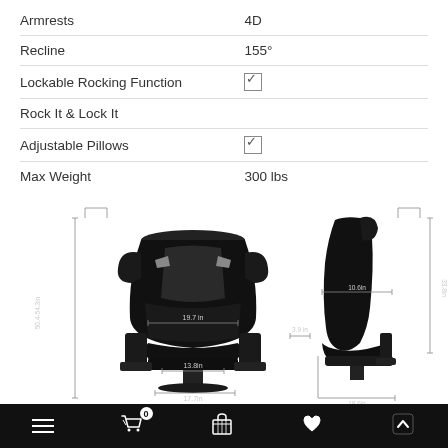| Feature | Value |
| --- | --- |
| Armrests | 4D |
| Recline | 155° |
| Lockable Rocking Function | ☑ |
| Rock It & Lock It |  |
| Adjustable Pillows | ☑ |
| Max Weight | 300 lbs |
[Figure (engineering-diagram): Front and side view of a gaming chair with dimension annotations: 19.7in seat width, 13.8in seat depth, 17.7in base width, 3.9in armrest width, 10.6in seat depth from side, 18.6in seat height, 33.8in back height, 50.4-54.3in total height]
Navigation bar with menu, cart (0), wishlist, and scroll-to-top icons